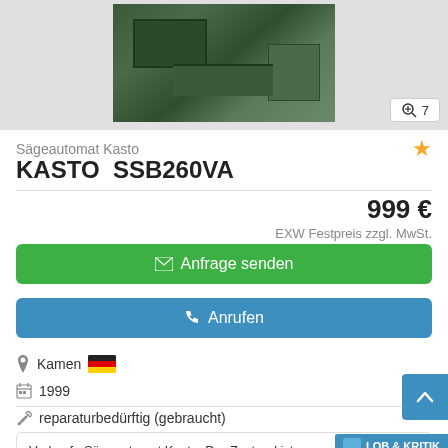[Figure (photo): Photo of a green industrial saw machine (Kasto SSB260VA) in workshop setting, partially cropped. Zoom badge showing '7' in bottom right.]
Sägeautomat Kasto
KASTO  SSB260VA
999 €
EXW Festpreis zzgl. MwSt.
✉ Anfrage senden
📞 Anrufen
Kamen 🇩🇪
1999
reparaturbedürftig (gebraucht)
Verkaufe Sägeautomat Kasto. Der Zustand ist gebraucht. Die Spannvorrichtung muss repariert